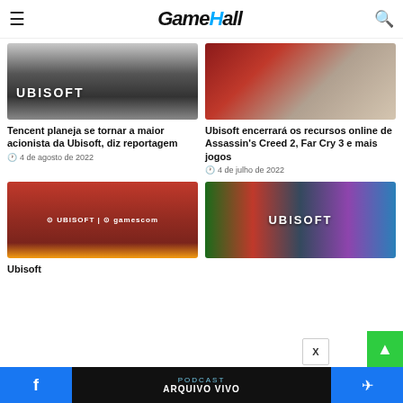GameHall
[Figure (photo): Ubisoft building exterior with sign]
Tencent planeja se tornar a maior acionista da Ubisoft, diz reportagem
4 de agosto de 2022
[Figure (photo): Assassin's Creed character artwork]
Ubisoft encerrará os recursos online de Assassin's Creed 2, Far Cry 3 e mais jogos
4 de julho de 2022
[Figure (photo): Ubisoft gamescom red logo banner]
[Figure (photo): Ubisoft games collage]
Ubisoft
PODCAST ARQUIVO VIVO